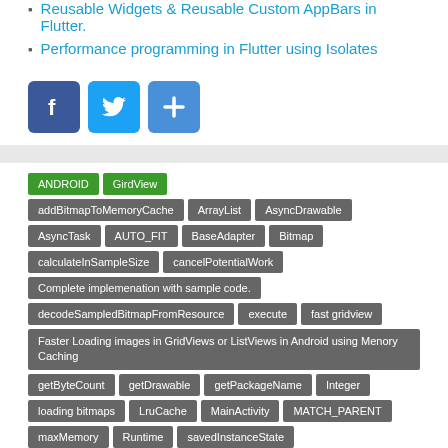Reusable Widgets & Reusable Custom AppBars in Flutter.
Performance programming in Flutter using Isolates
[Figure (infographic): Social sharing icons: Facebook (blue), Twitter (light blue), Share/Plus (blue)]
ANDROID
GirdView
addBitmapToMemoryCache
ArrayList
AsyncDrawable
AsyncTask
AUTO_FIT
BaseAdapter
Bitmap
calculateInSampleSize
cancelPotentialWork
Complete implemenation with sample code.
decodeSampledBitmapFromResource
execute
fast gridview
Faster Loading images in GridViews or ListViews in Android using Menory Caching
getByteCount
getDrawable
getPackageName
Integer
loading bitmaps
LruCache
MainActivity
MATCH_PARENT
maxMemory
Runtime
savedInstanceState